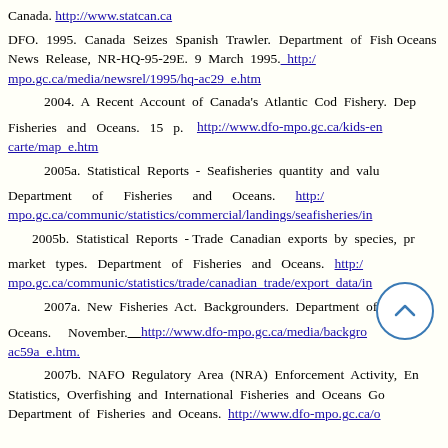Canada. http://www.statcan.ca
DFO. 1995. Canada Seizes Spanish Trawler. Department of Fisheries and Oceans News Release, NR-HQ-95-29E. 9 March 1995. http://mpo.gc.ca/media/newsrel/1995/hq-ac29_e.htm
2004. A Recent Account of Canada's Atlantic Cod Fishery. Department of Fisheries and Oceans. 15 p. http://www.dfo-mpo.gc.ca/kids-enf/carte/map_e.htm
2005a. Statistical Reports - Seafisheries quantity and value. Department of Fisheries and Oceans. http://mpo.gc.ca/communic/statistics/commercial/landings/seafisheries/index.htm
2005b. Statistical Reports - Trade Canadian exports by species, product and market types. Department of Fisheries and Oceans. http://mpo.gc.ca/communic/statistics/trade/canadian_trade/export_data/index.htm
2007a. New Fisheries Act. Backgrounders. Department of Fisheries and Oceans. November. http://www.dfo-mpo.gc.ca/media/backgro/2007/ac59a_e.htm.
2007b. NAFO Regulatory Area (NRA) Enforcement Activity, Enforcement Statistics, Overfishing and International Fisheries and Oceans Governance. Department of Fisheries and Oceans. http://www.dfo-mpo.gc.ca/o